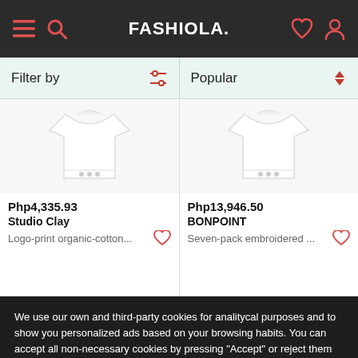FASHIOLA.
Filter by | Popular
[Figure (photo): White baby bodysuit/onesie garment on white background]
Php4,335.93
Studio Clay
Logo-print organic-cotton...
[Figure (photo): White baby bodysuit/onesie garment on white background]
Php13,946.50
BONPOINT
Seven-pack embroidered ...
We use our own and third-party cookies for analitycal purposes and to show you personalized ads based on your browsing habits. You can accept all non-necessary cookies by pressing "Accept" or reject them not pressing it.
More information | Accept